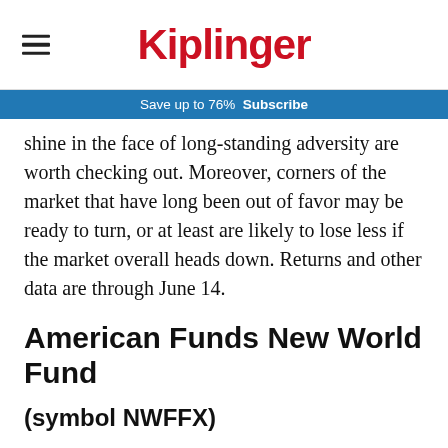Kiplinger
Save up to 76%  Subscribe
shine in the face of long-standing adversity are worth checking out. Moreover, corners of the market that have long been out of favor may be ready to turn, or at least are likely to lose less if the market overall heads down. Returns and other data are through June 14.
American Funds New World Fund
(symbol NWFFX)
Emerging-markets funds have been more